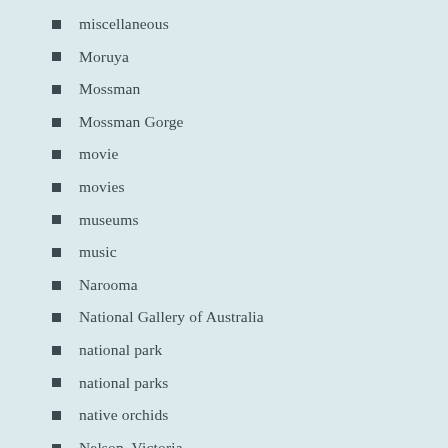miscellaneous
Moruya
Mossman
Mossman Gorge
movie
movies
museums
music
Narooma
National Gallery of Australia
national park
national parks
native orchids
Nelson, Victoria